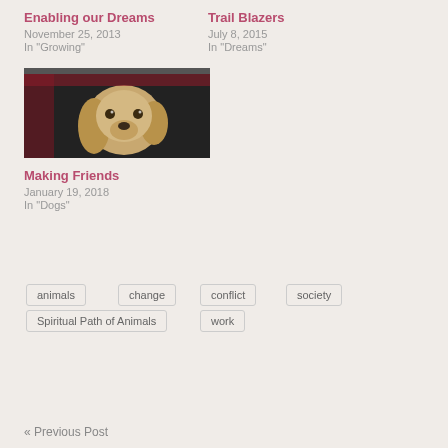Enabling our Dreams
November 25, 2013
In "Growing"
Trail Blazers
July 8, 2015
In "Dreams"
[Figure (photo): A golden/cream colored Cocker Spaniel dog looking out of a car window, car is red/dark colored]
Making Friends
January 19, 2018
In "Dogs"
animals
change
conflict
society
Spiritual Path of Animals
work
« Previous Post